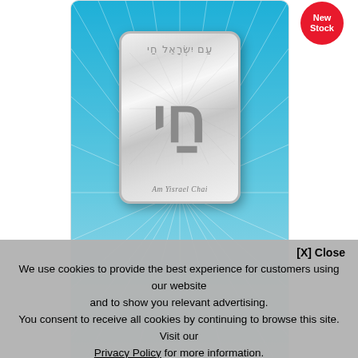[Figure (photo): PAMP Suisse Am Yisrael Chai silver bar product image on blue radiant background with New Stock badge]
[Figure (photo): Small thumbnail of the same PAMP Am Yisrael Chai silver bar]
[X] Close
We use cookies to provide the best experience for customers using our website and to show you relevant advertising.
You consent to receive all cookies by continuing to browse this site. Visit our Privacy Policy for more information.